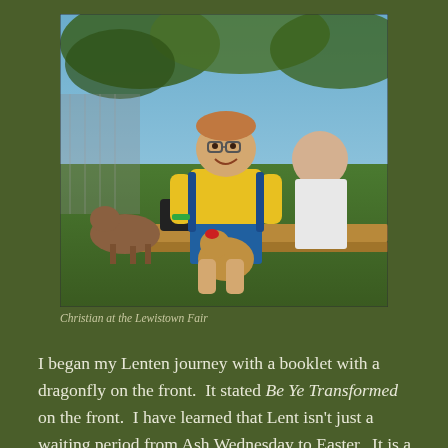[Figure (photo): A smiling boy wearing glasses and a yellow shirt sits outdoors holding a stuffed animal (chicken/rooster). He is at what appears to be a fair, with goats and other people visible in the background, seated on a wooden plank. Trees and a fence are visible behind him.]
Christian at the Lewistown Fair
I began my Lenten journey with a booklet with a dragonfly on the front.  It stated Be Ye Transformed on the front.  I have learned that Lent isn't just a waiting period from Ash Wednesday to Easter.  It is a period of